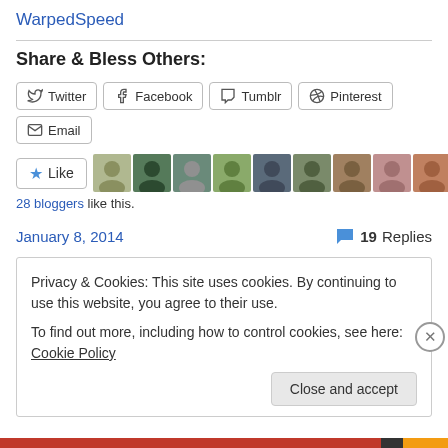WarpedSpeed
Share & Bless Others:
[Figure (screenshot): Social share buttons: Twitter, Facebook, Tumblr, Pinterest, Email]
[Figure (screenshot): Like button with star icon and 10 blogger avatars]
28 bloggers like this.
January 8, 2014     19 Replies
Privacy & Cookies: This site uses cookies. By continuing to use this website, you agree to their use. To find out more, including how to control cookies, see here: Cookie Policy
Close and accept